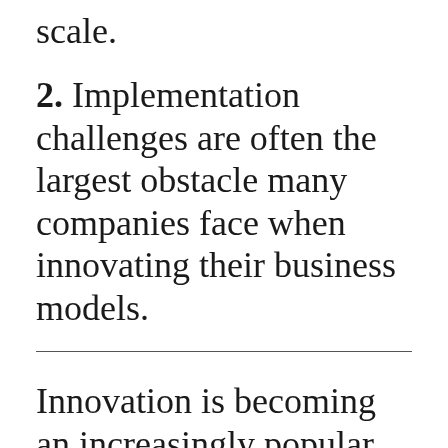scale.
2. Implementation challenges are often the largest obstacle many companies face when innovating their business models.
Innovation is becoming an increasingly popular term in the business world.